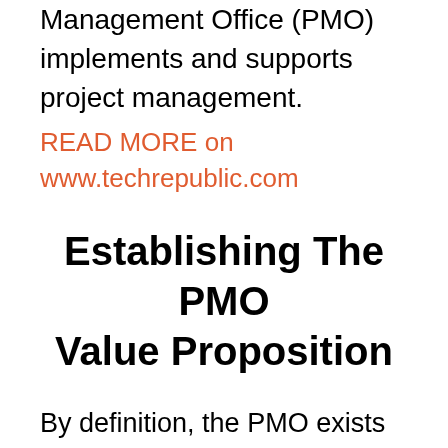mission statement is 'The Acme Project Management Office (PMO) implements and supports project management.
READ MORE on www.techrepublic.com
Establishing The PMO Value Proposition
By definition, the PMO exists as a coordination body and as a supporter of project . For a new PMO, this transformational mission statement will